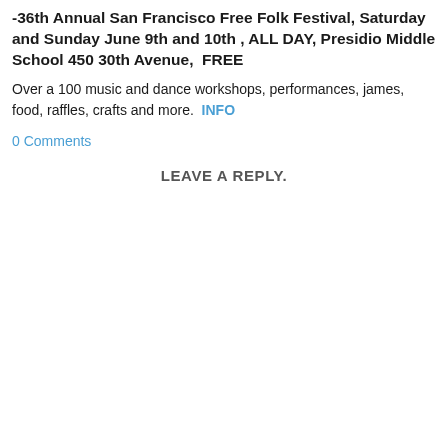-36th Annual San Francisco Free Folk Festival, Saturday and Sunday June 9th and 10th , ALL DAY, Presidio Middle School 450 30th Avenue,  FREE
Over a 100 music and dance workshops, performances, james, food, raffles, crafts and more.  INFO
0 Comments
LEAVE A REPLY.